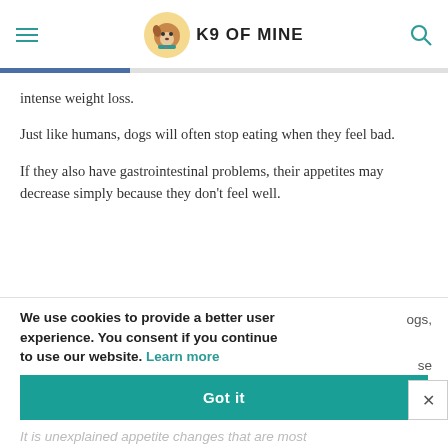K9 OF MINE
intense weight loss.
Just like humans, dogs will often stop eating when they feel bad.
If they also have gastrointestinal problems, their appetites may decrease simply because they don't feel well.
We use cookies to provide a better user experience. You consent if you continue to use our website. Learn more
Got it
It is unexplained appetite changes that are most